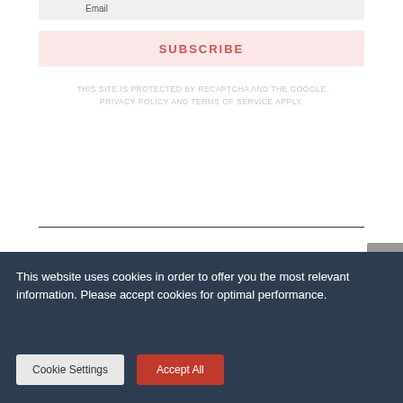Email
SUBSCRIBE
THIS SITE IS PROTECTED BY RECAPTCHA AND THE GOOGLE PRIVACY POLICY AND TERMS OF SERVICE APPLY.
This website uses cookies in order to offer you the most relevant information. Please accept cookies for optimal performance.
Cookie Settings
Accept All